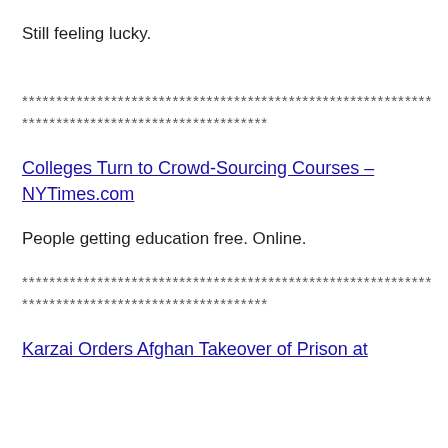Still feeling lucky.
************************************************************
************************************
Colleges Turn to Crowd-Sourcing Courses – NYTimes.com
People getting education free. Online.
************************************************************
************************************
Karzai Orders Afghan Takeover of Prison at